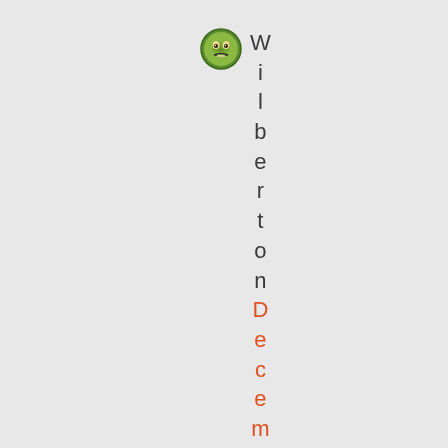[Figure (illustration): Small circular avatar icon with a cartoon face, green border, on light background]
Wilberton December 2